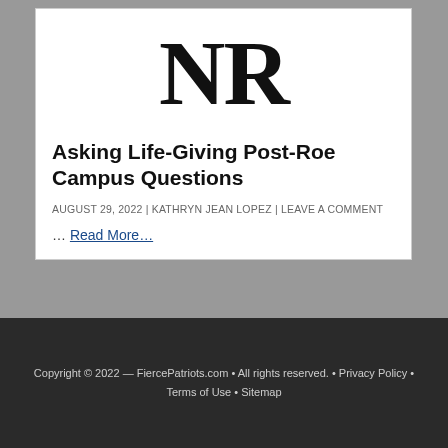[Figure (logo): NR logo — large bold serif letters 'NR' centered in white card area]
Asking Life-Giving Post-Roe Campus Questions
AUGUST 29, 2022 | KATHRYN JEAN LOPEZ | LEAVE A COMMENT
… Read More…
Copyright © 2022 — FiercePatriots.com • All rights reserved. • Privacy Policy • Terms of Use • Sitemap